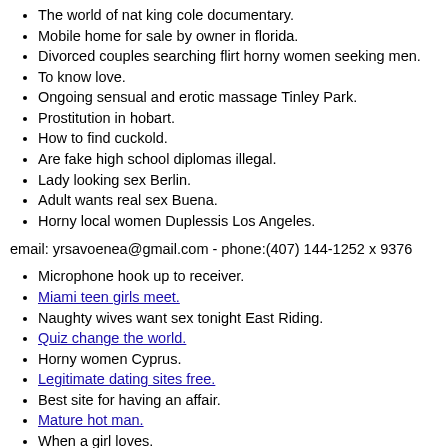The world of nat king cole documentary.
Mobile home for sale by owner in florida.
Divorced couples searching flirt horny women seeking men.
To know love.
Ongoing sensual and erotic massage Tinley Park.
Prostitution in hobart.
How to find cuckold.
Are fake high school diplomas illegal.
Lady looking sex Berlin.
Adult wants real sex Buena.
Horny local women Duplessis Los Angeles.
email: yrsavoenea@gmail.com - phone:(407) 144-1252 x 9376
Microphone hook up to receiver.
Miami teen girls meet.
Naughty wives want sex tonight East Riding.
Quiz change the world.
Horny women Cyprus.
Legitimate dating sites free.
Best site for having an affair.
Mature hot man.
When a girl loves.
Craigslist posting house for rent in arlington va.
Llanfyllin ok woman getting fuck.